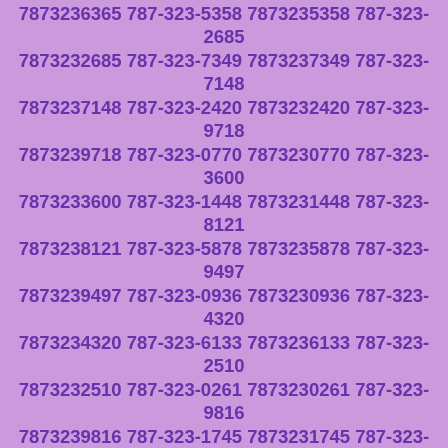7873236365 787-323-5358 7873235358 787-323-2685 7873232685 787-323-7349 7873237349 787-323-7148 7873237148 787-323-2420 7873232420 787-323-9718 7873239718 787-323-0770 7873230770 787-323-3600 7873233600 787-323-1448 7873231448 787-323-8121 7873238121 787-323-5878 7873235878 787-323-9497 7873239497 787-323-0936 7873230936 787-323-4320 7873234320 787-323-6133 7873236133 787-323-2510 7873232510 787-323-0261 7873230261 787-323-9816 7873239816 787-323-1745 7873231745 787-323-0043 7873230043 787-323-4278 7873234278 787-323-1928 7873231928 787-323-9436 7873239436 787-323-2069 7873232069 787-323-9018 7873239018 787-323-2251 7873232251 787-323-1981 7873231981 787-323-0252 7873230252 787-323-0953 7873230953 787-323-3894 7873233894 787-323-8461 7873238461 787-323-3423 7873233423 787-323-0963 7873230963 787-323-2406 7873232406 787-323-8814 7873238814 787-323-0969 7873230969 787-323-0804 7873230804 787-323-2052 7873232052 787-323-5330 7873235330 787-323-2023